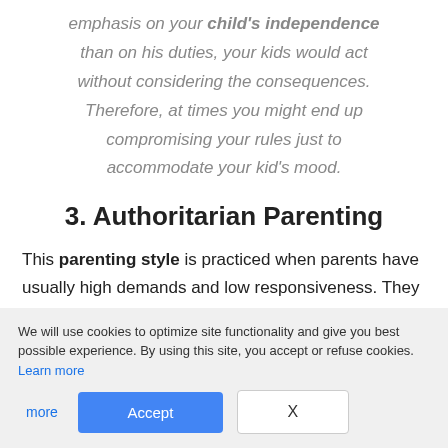emphasis on your child's independence than on his duties, your kids would act without considering the consequences. Therefore, at times you might end up compromising your rules just to accommodate your kid's mood.
3. Authoritarian Parenting
This parenting style is practiced when parents have usually high demands and low responsiveness. They expect more than what they provide.
We will use cookies to optimize site functionality and give you best possible experience. By using this site, you accept or refuse cookies. Learn more